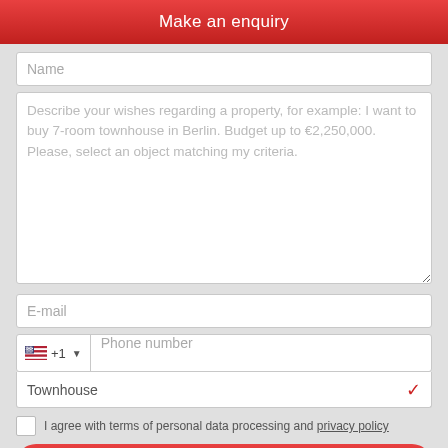Make an enquiry
Name
Describe your wishes regarding a property, for example: I want to buy 7-room townhouse in Berlin. Budget up to €2,250,000.
Please, select an object matching my criteria.
E-mail
+1  Phone number
Townhouse
I agree with terms of personal data processing and privacy policy
Send request